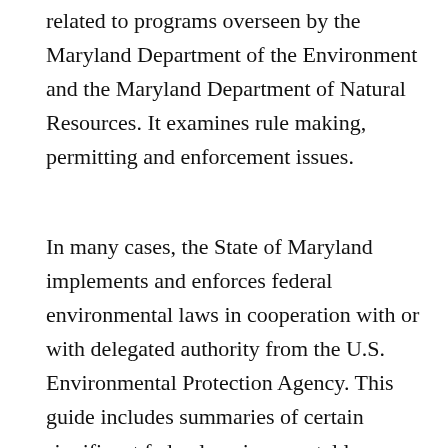related to programs overseen by the Maryland Department of the Environment and the Maryland Department of Natural Resources. It examines rule making, permitting and enforcement issues.
In many cases, the State of Maryland implements and enforces federal environmental laws in cooperation with or with delegated authority from the U.S. Environmental Protection Agency. This guide includes summaries of certain significant federal environmental laws that are implemented by the State of Maryland, such as the Clean Air Act and Clean Water